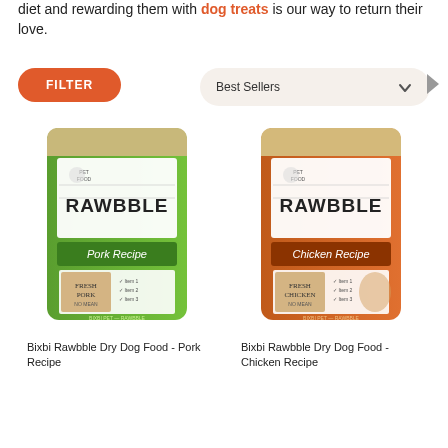diet and rewarding them with dog treats is our way to return their love.
[Figure (screenshot): Orange pill-shaped FILTER button]
[Figure (screenshot): Best Sellers sort dropdown with chevron]
[Figure (photo): Bixbi Rawbble Dry Dog Food - Pork Recipe green bag]
[Figure (photo): Bixbi Rawbble Dry Dog Food - Chicken Recipe orange bag]
Bixbi Rawbble Dry Dog Food - Pork Recipe
Bixbi Rawbble Dry Dog Food - Chicken Recipe